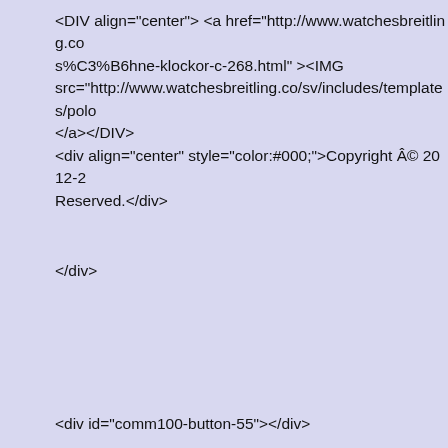<DIV align="center"> <a href="http://www.watchesbreitling.co/s%C3%B6hne-klockor-c-268.html" ><IMG src="http://www.watchesbreitling.co/sv/includes/templates/polo </a></DIV>
<div align="center" style="color:#000;">Copyright © 2012-2 Reserved.</div>
</div>
<div id="comm100-button-55"></div>
<strong><a href="http://www.watchesbreitling.co/sv/">swiss re </a></strong><br>
<strong><a href="http://www.watchesbreitling.co/sv/">schweiz